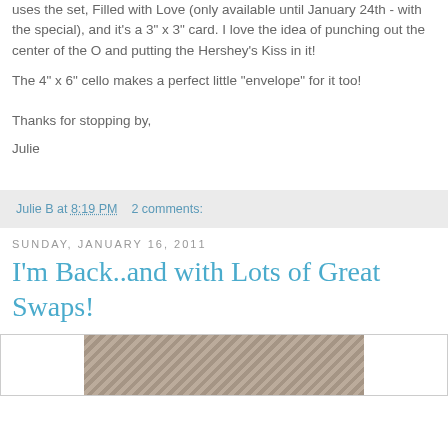uses the set, Filled with Love (only available until January 24th - with the special), and it's a 3" x 3" card. I love the idea of punching out the center of the O and putting the Hershey's Kiss in it!
The 4" x 6" cello makes a perfect little "envelope" for it too!
Thanks for stopping by,
Julie
Julie B at 8:19 PM    2 comments:
Sunday, January 16, 2011
I'm Back..and with Lots of Great Swaps!
[Figure (photo): Photo image partially visible at bottom of page]